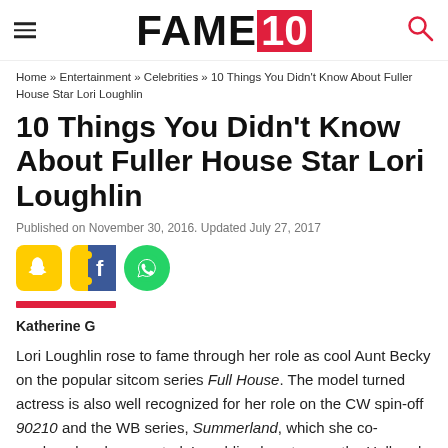FAME10
Home » Entertainment » Celebrities » 10 Things You Didn't Know About Fuller House Star Lori Loughlin
10 Things You Didn't Know About Fuller House Star Lori Loughlin
Published on November 30, 2016. Updated July 27, 2017
[Figure (other): Social sharing icons: Snapchat (yellow), Facebook (blue with ticket-style cutout), WhatsApp (green circle)]
Katherine G
Lori Loughlin rose to fame through her role as cool Aunt Becky on the popular sitcom series Full House. The model turned actress is also well recognized for her role on the CW spin-off 90210 and the WB series, Summerland, which she co-produced and co-created. Loughlin also stars on the Hallmark series, When